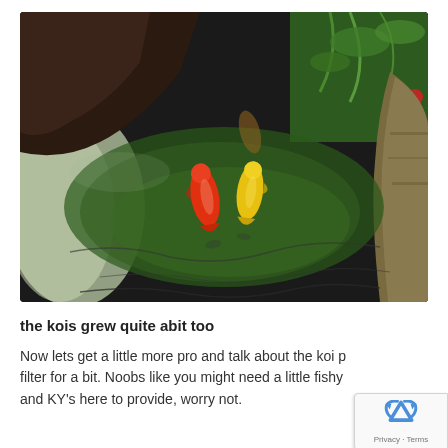[Figure (photo): Aerial view of a koi pond with dark water, green algae on the bottom, and two visible koi fish — one red-orange and one yellow/gold — swimming in the center. The pond has curved dark stone or concrete edges. Upper right shows green tropical plants and vegetation. Left side shows a lighter greenish area.]
the kois grew quite abit too
Now lets get a little more pro and talk about the koi p filter for a bit. Noobs like you might need a little fishy and KY's here to provide, worry not.